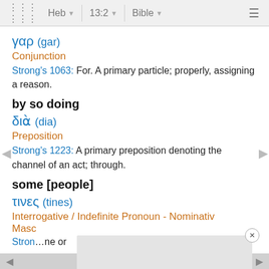Heb 13:2 Bible
γαρ (gar)
Conjunction
Strong's 1063: For. A primary particle; properly, assigning a reason.
by so doing
διὰ (dia)
Preposition
Strong's 1223: A primary preposition denoting the channel of an act; through.
some [people]
τινες (tines)
Interrogative / Indefinite Pronoun - Nominativ
Masc
Stron